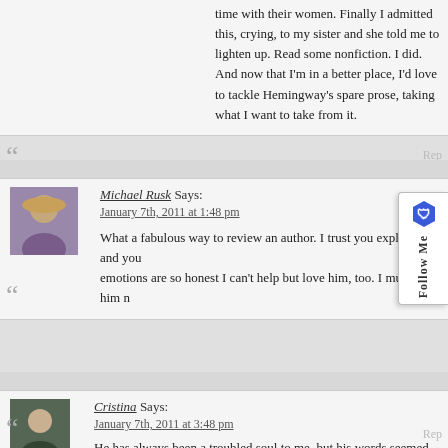time with their women. Finally I admitted this, crying, to my sister and she told me to lighten up. Read some nonfiction. I did. And now that I'm in a better place, I'd love to tackle Hemingway's spare prose, taking what I want to take from it.
Michael Rusk Says:
January 7th, 2011 at 1:48 pm

What a fabulous way to review an author. I trust you explicitly and your emotions are so honest I can't help but love him, too. I must read him n
Cristina Says:
January 7th, 2011 at 3:48 pm

He has always been a troubled soul to me, but his words seemed to soothe it. Enjoy.